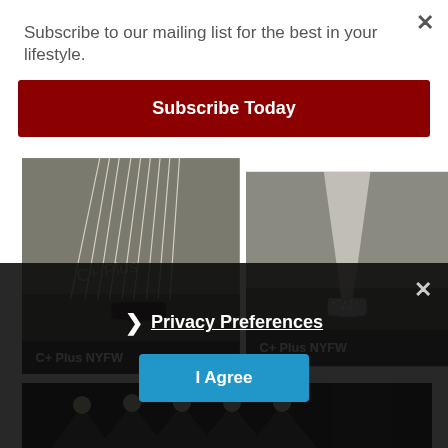Subscribe to our mailing list for the best in your lifestyle.
Subscribe Today
[Figure (photo): Fashion runway photo showing model's feet/legs with feathered fringe outfit and sneakers, labeled 'C+ Plus NYFW']
C+ Plus NYFW
[Figure (photo): Fashion runway photo showing model's feet/legs in sparkly shoes with white outfit, labeled 'C+ Plus NYFW']
C+ Plus NYFW
[Figure (photo): Fashion show runway stage with stage lights and model silhouette]
Privacy Preferences
I Agree